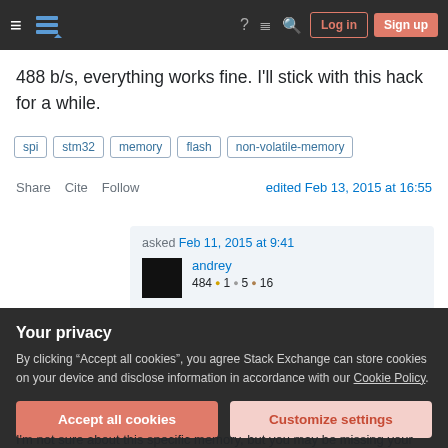Stack Exchange navigation bar with hamburger, logo, help, chat, search, Log in and Sign up buttons
488 b/s, everything works fine. I'll stick with this hack for a while.
spi  stm32  memory  flash  non-volatile-memory
Share  Cite  Follow  edited Feb 13, 2015 at 16:55
asked Feb 11, 2015 at 9:41 andrey 484 ●1 ●5 ●16
Your privacy
By clicking "Accept all cookies", you agree Stack Exchange can store cookies on your device and disclose information in accordance with our Cookie Policy.
Accept all cookies  Customize settings
I'm not sure about this specific memory, but you may be missing your opportunity by reading the